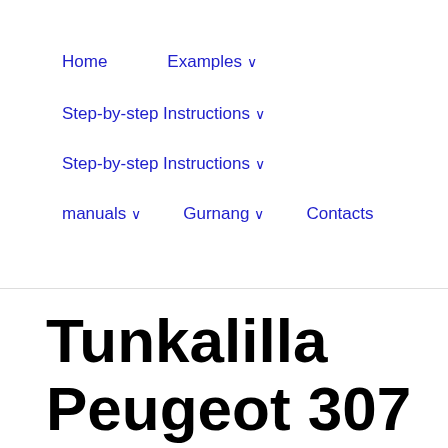Home
Examples ∨
Step-by-step Instructions ∨
Step-by-step Instructions ∨
manuals ∨
Gurnang ∨
Contacts
Tunkalilla Peugeot 307 Ca